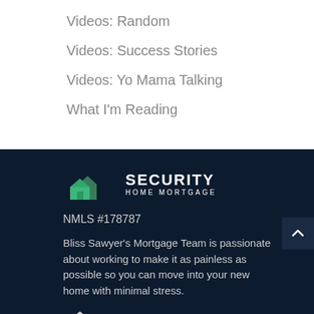Videos: Random
Videos: Success Stories
Videos: Yo Mama Talking
What I'm Reading
[Figure (logo): Security Home Mortgage logo with green house icon and SECURITY HOME MORTGAGE text]
NMLS #178787
Bliss Sawyer's Mortgage Team is passionate about working to make it as painless as possible so you can move into your new home with minimal stress.
[Figure (logo): Equal Housing Lender logo]
NMLS #239608